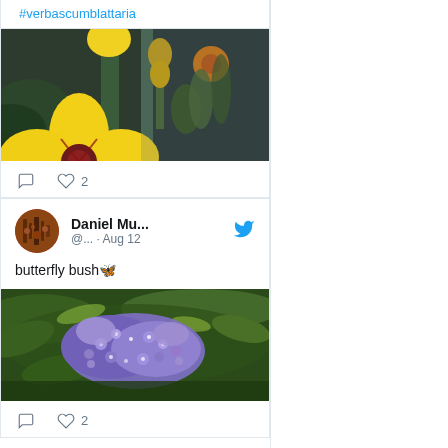#verbascumblattaria
[Figure (photo): Close-up photo of yellow flowers with dark centers and green stems, appears to be verbascum plant]
comment icon  heart icon  2
Daniel Mu... @... · Aug 12
butterfly bush 🦋
[Figure (photo): Close-up photo of purple butterfly bush flowers with green leaves]